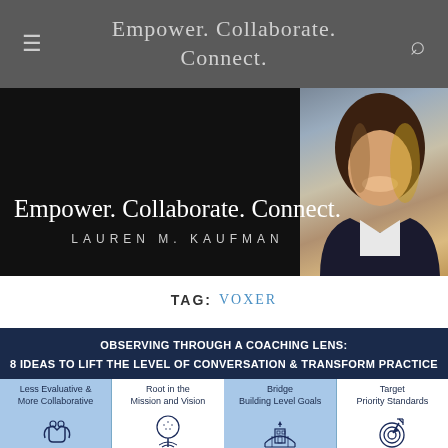Empower. Collaborate. Connect.
[Figure (screenshot): Hero banner with cursive text 'Empower. Collaborate. Connect.' and 'LAUREN M. KAUFMAN' on black background with a photo of a woman smiling in a dark blazer]
TAG: VOXER
[Figure (infographic): Article card with dark navy header 'OBSERVING THROUGH A COACHING LENS: 8 IDEAS TO LIFT THE LEVEL OF CONVERSATION & TRANSFORM PRACTICE' and four icon panels: 'Less Evaluative & More Collaborative', 'Root in the Mission and Vision', 'Bridge Building Level Goals', 'Target Priority Standards']